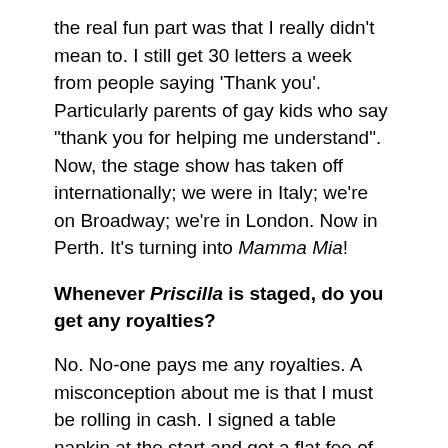the real fun part was that I really didn't mean to. I still get 30 letters a week from people saying 'Thank you'. Particularly parents of gay kids who say "thank you for helping me understand". Now, the stage show has taken off internationally; we were in Italy; we're on Broadway; we're in London. Now in Perth. It's turning into Mamma Mia!
Whenever Priscilla is staged, do you get any royalties?
No. No-one pays me any royalties. A misconception about me is that I must be rolling in cash. I signed a table napkin at the start and got a flat fee of $50,000 and that's all I got. But there's that great conception that I obviously must be rolling in it, yet I never saw another cent. I was bitter about it at first, but you know what? I got a career out of it. But don't ever get the idea that you get rich from filmmaking; very few people